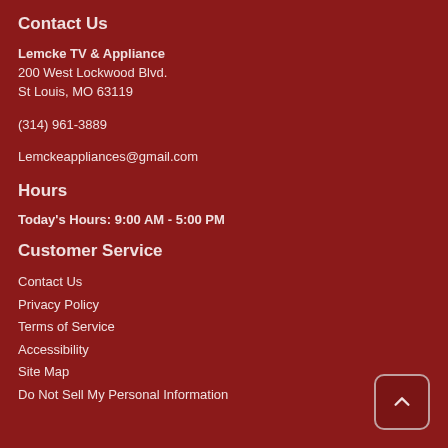Contact Us
Lemcke TV & Appliance
200 West Lockwood Blvd.
St Louis, MO 63119
(314) 961-3889
Lemckeappliances@gmail.com
Hours
Today's Hours: 9:00 AM - 5:00 PM
Customer Service
Contact Us
Privacy Policy
Terms of Service
Accessibility
Site Map
Do Not Sell My Personal Information